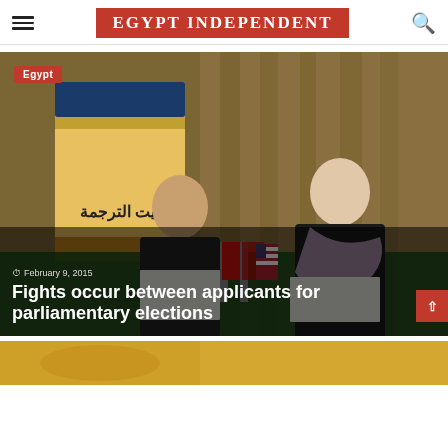EGYPT INDEPENDENT
[Figure (photo): Two people seated at a green table with Egyptian and American flags, a banner in Arabic reading 'بيت الترجمة' (House of Translation) in background. Date overlay: February 9, 2015. Title overlay: Fights occur between applicants for parliamentary elections.]
Egypt
February 9, 2015
Fights occur between applicants for parliamentary elections
[Figure (photo): Partial bottom teaser image with warm golden/orange tones.]